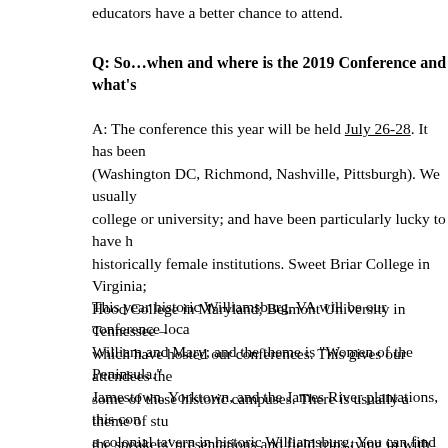educators have a better chance to attend.
Q: So…when and where is the 2019 Conference and what's
A: The conference this year will be held July 26-28. It has been (Washington DC, Richmond, Nashville, Pittsburgh). We usually college or university; and have been particularly lucky to have h historically female institutions. Sweet Briar College in Virginia; Hood College in Maryland; Belmont University in Tennessee – which have hosted our conferences. This gives our attendees the some of these historic campuses. There is usually a theme of stu the speakers' presentations and field trips tying in with that them
This year historic Williamsburg, VA will be our conference loca William and Mary; and the theme is "Women of the Peninsula." Jamestown, Yorktown, and the James River plantations, this co a colonial tavern in historic Williamsburg. You can find out mor speakers and activities, as well as conference registration inform http://www.swcw.org/2019-conference-details.html.